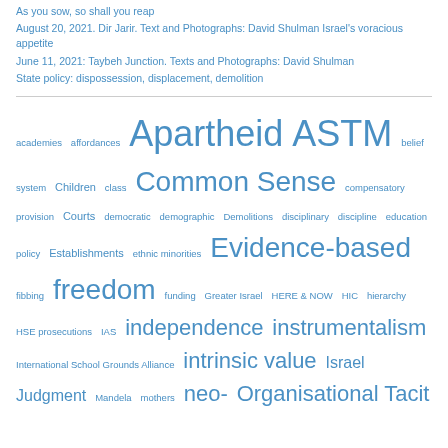As you sow, so shall you reap
August 20, 2021. Dir Jarir. Text and Photographs: David Shulman Israel's voracious appetite
June 11, 2021: Taybeh Junction. Texts and Photographs: David Shulman
State policy: dispossession, displacement, demolition
[Figure (infographic): Tag cloud with terms related to education, politics, and social issues. Terms include: academies, affordances, Apartheid, ASTM, belief system, Children, class, Common Sense, compensatory provision, Courts, democratic, demographic, Demolitions, disciplinary, discipline, education policy, Establishments, ethnic minorities, Evidence-based, fibbing, freedom, funding, Greater Israel, HERE & NOW, HIC, hierarchy, HSE prosecutions, IAS, independence, instrumentalism, International School Grounds Alliance, intrinsic value, Israel, Judgment, Mandela, mothers, neo-, Organisational Tacit...]